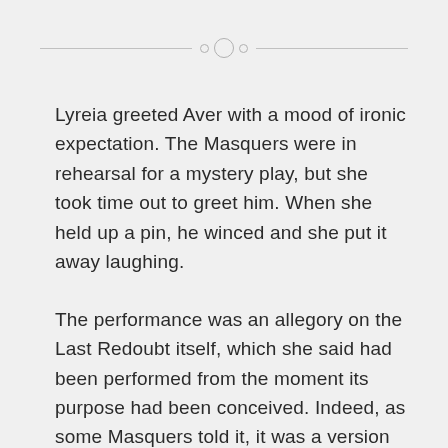Lyreia greeted Aver with a mood of ironic expectation. The Masquers were in rehearsal for a mystery play, but she took time out to greet him. When she held up a pin, he winced and she put it away laughing.
The performance was an allegory on the Last Redoubt itself, which she said had been performed from the moment its purpose had been conceived. Indeed, as some Masquers told it, it was a version of this play that had inspired the Foundation of the Last Redoubt itself. That day he stayed and